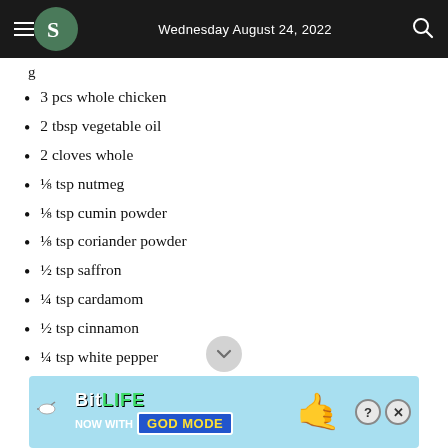Wednesday August 24, 2022
3 pcs whole chicken
2 tbsp vegetable oil
2 cloves whole
⅛ tsp nutmeg
⅛ tsp cumin powder
⅛ tsp coriander powder
½ tsp saffron
¼ tsp cardamom
½ tsp cinnamon
¼ tsp white pepper
¼ tsp dried lime pow...